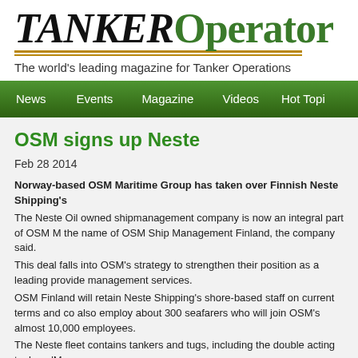[Figure (logo): TANKEROperator logo — TANKER in black italic serif bold, Operator in green serif, with gold/tan double underline beneath]
The world's leading magazine for Tanker Operations
[Figure (other): Green navigation bar with items: News, Events, Magazine, Videos, Hot Topi(cs)]
OSM signs up Neste
Feb 28 2014
Norway-based OSM Maritime Group has taken over Finnish Neste Shipping's
The Neste Oil owned shipmanagement company is now an integral part of OSM M the name of OSM Ship Management Finland, the company said.
This deal falls into OSM's strategy to strengthen their position as a leading provide management services.
OSM Finland will retain Neste Shipping's shore-based staff on current terms and c also employ about 300 seafarers who will join OSM's almost 10,000 employees.
The Neste fleet contains tankers and tugs, including the double acting tankers 'Ma
The crew and technical management of the 11 vessels included in the deal will all b